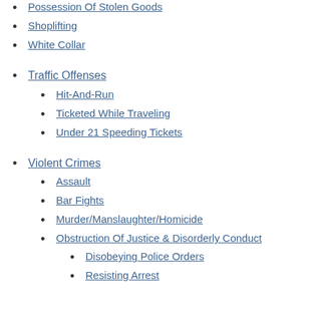Possession Of Stolen Goods
Shoplifting
White Collar
Traffic Offenses
Hit-And-Run
Ticketed While Traveling
Under 21 Speeding Tickets
Violent Crimes
Assault
Bar Fights
Murder/Manslaughter/Homicide
Obstruction Of Justice & Disorderly Conduct
Disobeying Police Orders
Resisting Arrest